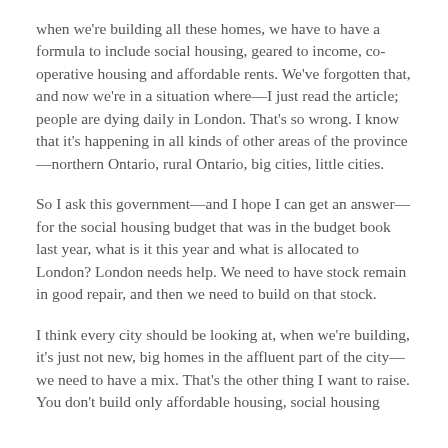when we're building all these homes, we have to have a formula to include social housing, geared to income, co-operative housing and affordable rents. We've forgotten that, and now we're in a situation where—I just read the article; people are dying daily in London. That's so wrong. I know that it's happening in all kinds of other areas of the province—northern Ontario, rural Ontario, big cities, little cities.
So I ask this government—and I hope I can get an answer—for the social housing budget that was in the budget book last year, what is it this year and what is allocated to London? London needs help. We need to have stock remain in good repair, and then we need to build on that stock.
I think every city should be looking at, when we're building, it's just not new, big homes in the affluent part of the city—we need to have a mix. That's the other thing I want to raise. You don't build only affordable housing, social housing